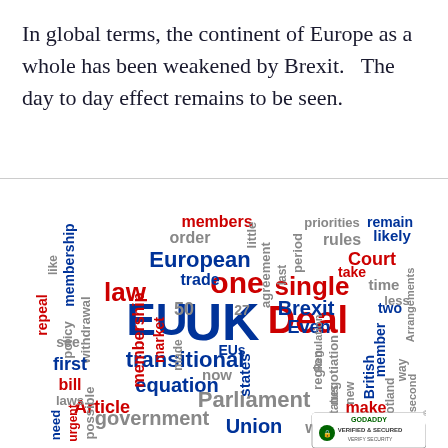In global terms, the continent of Europe as a whole has been weakened by Brexit.   The day to day effect remains to be seen.
[Figure (infographic): Word cloud about Brexit featuring words like EU, UK, Deal, Brexit, European, law, transitional, Parliament, Union, single, Court, government, Article, equation, members, membership, trade, market, rules, priorities, remain, likely, British, member, make, withdrawal, policy, first, bill, laws, need, repeal, see, one, 50, 27, now, order, little, period, agreement, take, time, two, less, Arrangements, way, second, Scotland, new, states, status, Even, region, Regulation, negotiation, possible, urgent, made, trade, EUs]